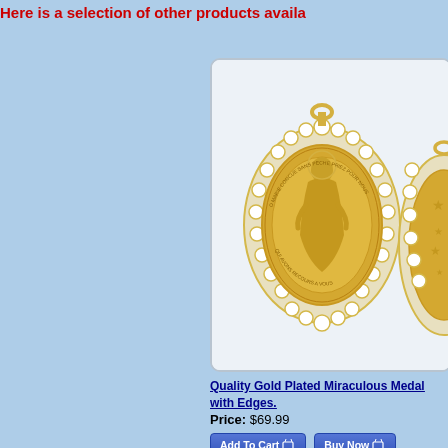Here is a selection of other products available
[Figure (photo): Gold plated miraculous medal with decorative white enamel scalloped edges, shown front and partial back view, on a light background inside a rounded rectangle card.]
Quality Gold Plated Miraculous Medal with Edges.
Price: $69.99
Add To Cart | Buy Now